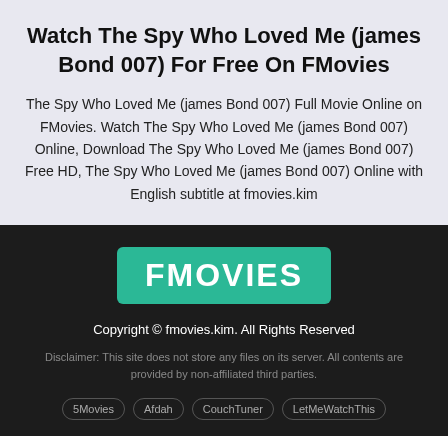Watch The Spy Who Loved Me (james Bond 007) For Free On FMovies
The Spy Who Loved Me (james Bond 007) Full Movie Online on FMovies. Watch The Spy Who Loved Me (james Bond 007) Online, Download The Spy Who Loved Me (james Bond 007) Free HD, The Spy Who Loved Me (james Bond 007) Online with English subtitle at fmovies.kim
[Figure (logo): FMovies logo: teal/green rounded rectangle with white bold text 'FMOVIES']
Copyright © fmovies.kim. All Rights Reserved
Disclaimer: This site does not store any files on its server. All contents are provided by non-affiliated third parties.
5Movies   Afdah   CouchTuner   LetMeWatchThis